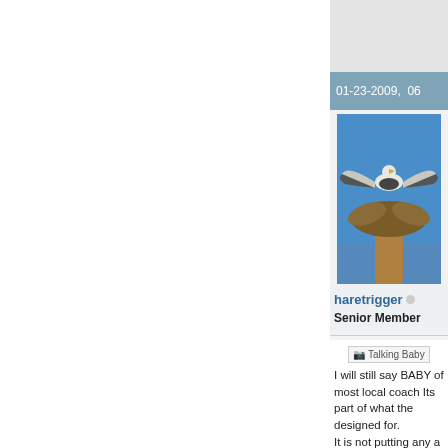01-23-2009,  06
[Figure (photo): Avatar photo of haretrigger showing a bird (osprey/pelican) with wings spread on top of a palm tree against a blue sky]
haretrigger  Senior Member
[Figure (other): Talking Baby icon/image]
I will still say BABY of most local coach Its part of what the designed for. It is not putting any a different way. Its want than a job dis So some coaches choose to do so for My real point is it g opportunity to mak comfortable with. If a coach works n